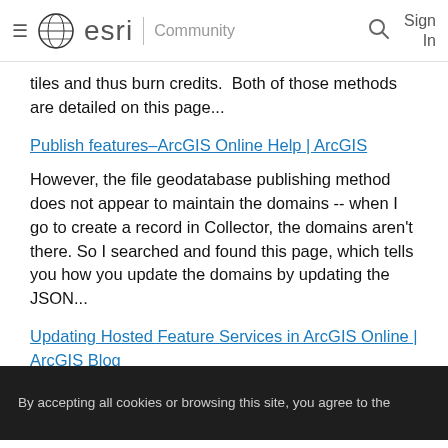esri | Community  Sign In
tiles and thus burn credits.  Both of those methods are detailed on this page...
Publish features–ArcGIS Online Help | ArcGIS
However, the file geodatabase publishing method does not appear to maintain the domains -- when I go to create a record in Collector, the domains aren't there. So I searched and found this page, which tells you how you update the domains by updating the JSON...
Updating Hosted Feature Services in ArcGIS Online | ArcGIS Blog
So I did that, and it worked.  But really, I think I shouldn't have to do that.  If AGOL can see domains on something I upload via ArcMap, which is pointing to a
By accepting all cookies or browsing this site, you agree to the